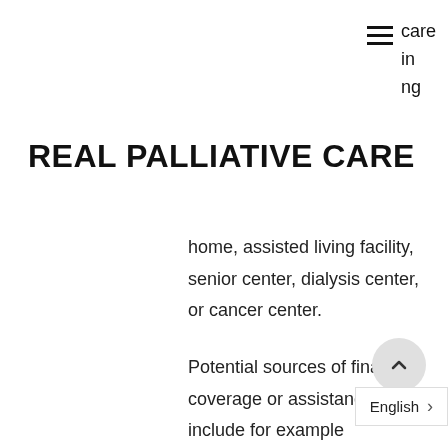care
in
ng
REAL PALLIATIVE CARE
home, assisted living facility, senior center, dialysis center, or cancer center.
Potential sources of financial coverage or assistance may include for example
- Medicare, Medicaid, or private insurance (this may involve calling your insurance company to